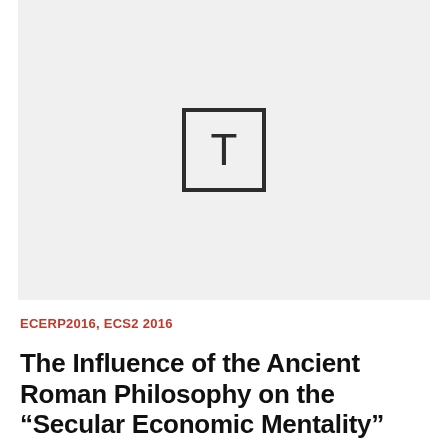[Figure (other): Placeholder image with a square containing the letter T, on a light grey background]
ECERP2016, ECS2 2016
The Influence of the Ancient Roman Philosophy on the “Secular Economic Mentality”